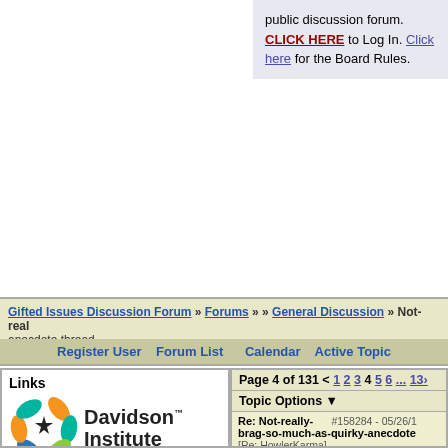public discussion forum. CLICK HERE to Log In. Click here for the Board Rules.
Gifted Issues Discussion Forum » Forums » » General Discussion » Not-really-brag-so-much-as-quirky-anecdote thread
Register User   Forum List   Calendar   Active Topics
Links
[Figure (logo): Davidson Institute logo with colorful star/pinwheel and text 'Davidson Institute']
Learn about the Davidson Academy's online campus for profoundly gifted students living anywhere in the U.S.
The Davidson Institute is a national nonprofit dedicated to supporting profoundly gifted
Page 4 of 131 < 1 2 3 4 5 6 ... 131
Topic Options
Re: Not-really-brag-so-much-as-quirky-anecdote  #158284 - 05/26/1  [Re: HowlerKarma]
AvoCado
Member
Registered: 04/11/13
Posts: 202
This morning DD6 has gone to school with a pinecone for show and tell - with the Fibonacci-sequence spirals highlighted in silver and pink (thanks to Vi Har I'm nervous about it. She wants to explain how cool Fibonacci spiralling boxes! The natural occurrences in flowers and pinecones! The not-addi...